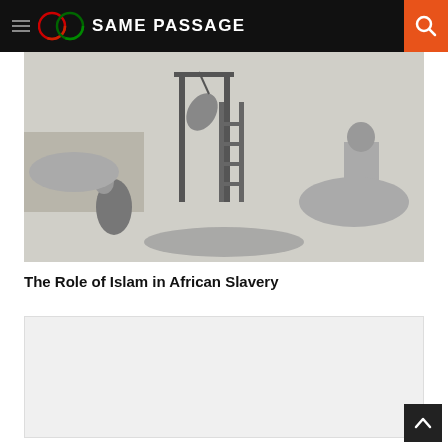SAME PASSAGE
[Figure (illustration): Historical black-and-white engraving depicting a scene related to slavery, with figures, a gallows or scaffold structure, crowds, and a person being executed or hanged.]
The Role of Islam in African Slavery
[Figure (other): Light gray content/advertisement box below the article title.]